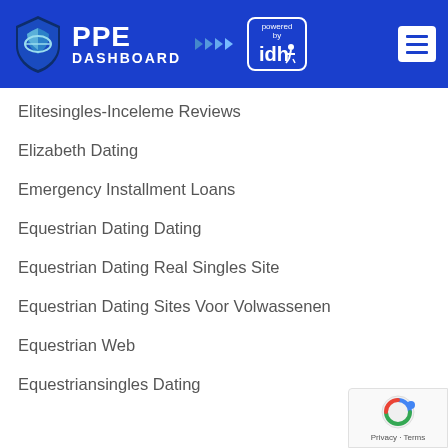[Figure (logo): PPE Dashboard logo with shield icon and 'powered by idh' badge, blue header bar with hamburger menu]
Elitesingles-Inceleme Reviews
Elizabeth Dating
Emergency Installment Loans
Equestrian Dating Dating
Equestrian Dating Real Singles Site
Equestrian Dating Sites Voor Volwassenen
Equestrian Web
Equestriansingles Dating